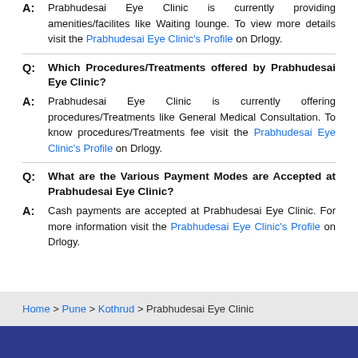A: Prabhudesai Eye Clinic is currently providing amenities/facilites like Waiting lounge. To view more details visit the Prabhudesai Eye Clinic's Profile on Drlogy.
Q: Which Procedures/Treatments offered by Prabhudesai Eye Clinic?
A: Prabhudesai Eye Clinic is currently offering procedures/Treatments like General Medical Consultation. To know procedures/Treatments fee visit the Prabhudesai Eye Clinic's Profile on Drlogy.
Q: What are the Various Payment Modes are Accepted at Prabhudesai Eye Clinic?
A: Cash payments are accepted at Prabhudesai Eye Clinic. For more information visit the Prabhudesai Eye Clinic's Profile on Drlogy.
Home > Pune > Kothrud > Prabhudesai Eye Clinic